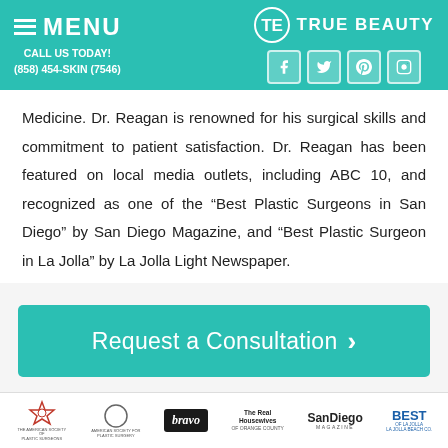MENU | TRUE BEAUTY | CALL US TODAY! (858) 454-SKIN (7546)
Medicine. Dr. Reagan is renowned for his surgical skills and commitment to patient satisfaction. Dr. Reagan has been featured on local media outlets, including ABC 10, and recognized as one of the “Best Plastic Surgeons in San Diego” by San Diego Magazine, and “Best Plastic Surgeons in La Jolla” by La Jolla Light Newspaper.
[Figure (other): Request a Consultation button with teal background and right-arrow chevron]
[Figure (other): Footer logo strip showing: American Academy of Plastic Surgery, American Society of Plastic Surgery, bravo, The Real Housewives of Orange County, San Diego Magazine, Best of La Jolla]